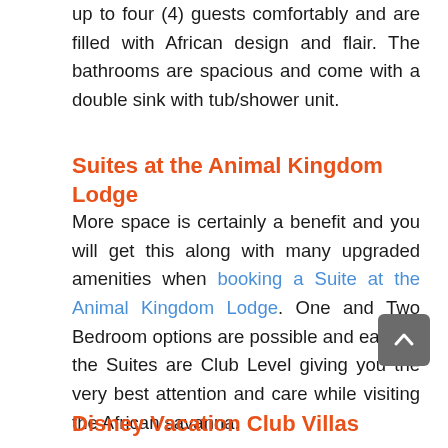up to four (4) guests comfortably and are filled with African design and flair. The bathrooms are spacious and come with a double sink with tub/shower unit.
Suites at the Animal Kingdom Lodge
More space is certainly a benefit and you will get this along with many upgraded amenities when booking a Suite at the Animal Kingdom Lodge. One and Two Bedroom options are possible and each of the Suites are Club Level giving you the very best attention and care while visiting the African savanna.
Disney Vacation Club Villas